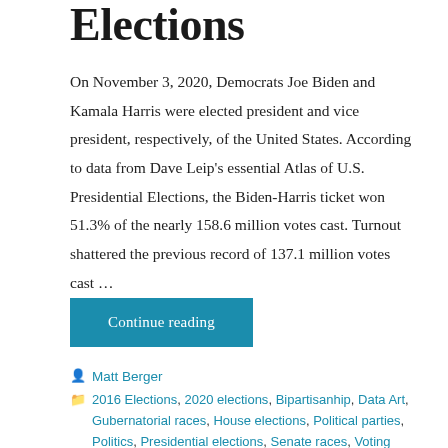Elections
On November 3, 2020, Democrats Joe Biden and Kamala Harris were elected president and vice president, respectively, of the United States. According to data from Dave Leip's essential Atlas of U.S. Presidential Elections, the Biden-Harris ticket won 51.3% of the nearly 158.6 million votes cast. Turnout shattered the previous record of 137.1 million votes cast …
Continue reading
Matt Berger
2016 Elections, 2020 elections, Bipartisanhip, Data Art, Gubernatorial races, House elections, Political parties, Politics, Presidential elections, Senate races, Voting behavior